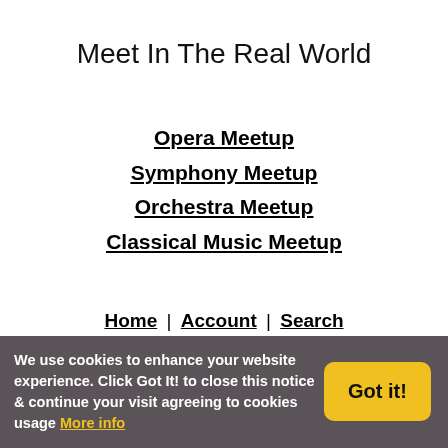Meet In The Real World
Opera Meetup
Symphony Meetup
Orchestra Meetup
Classical Music Meetup
Home | Account | Search | FAQ | Help | Contact | Advertise
We use cookies to enhance your website experience. Click Got It! to close this notice & continue your visit agreeing to cookies usage More info